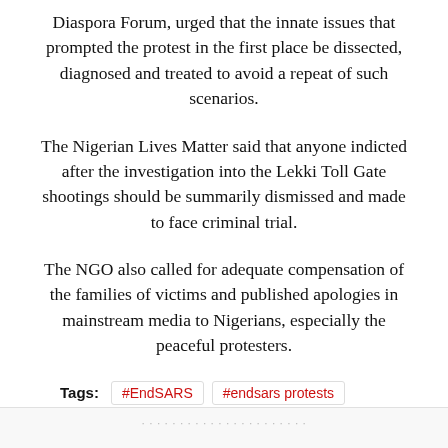Diaspora Forum, urged that the innate issues that prompted the protest in the first place be dissected, diagnosed and treated to avoid a repeat of such scenarios.
The Nigerian Lives Matter said that anyone indicted after the investigation into the Lekki Toll Gate shootings should be summarily dismissed and made to face criminal trial.
The NGO also called for adequate compensation of the families of victims and published apologies in mainstream media to Nigerians, especially the peaceful protesters.
Tags: #EndSARS  #endsars protests  debo adesina